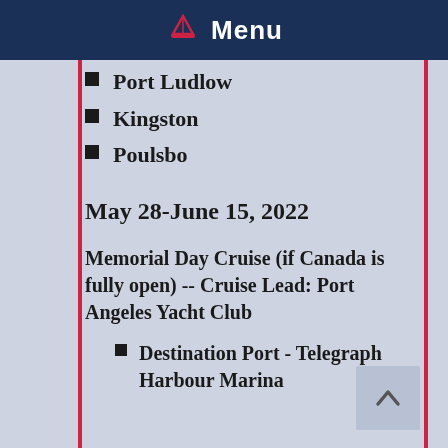Menu
Port Ludlow
Kingston
Poulsbo
May 28-June 15, 2022
Memorial Day Cruise (if Canada is fully open) -- Cruise Lead: Port Angeles Yacht Club
Destination Port - Telegraph Harbour Marina